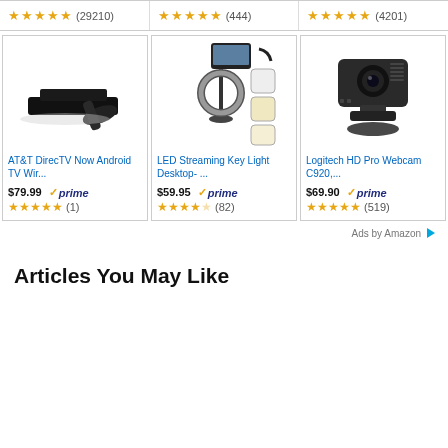★★★★★ (29210) | ★★★★½ (444) | ★★★★½ (4201)
[Figure (screenshot): AT&T DirecTV Now Android TV Wir... product card with image of TV box and remote, $79.99 prime, 5 stars (1)]
[Figure (screenshot): LED Streaming Key Light Desktop-... product card with ring light and phone mount image, $59.95 prime, 4.5 stars (82)]
[Figure (screenshot): Logitech HD Pro Webcam C920,... product card with webcam image, $69.90 prime, 4.5 stars (519)]
Ads by Amazon
Articles You May Like